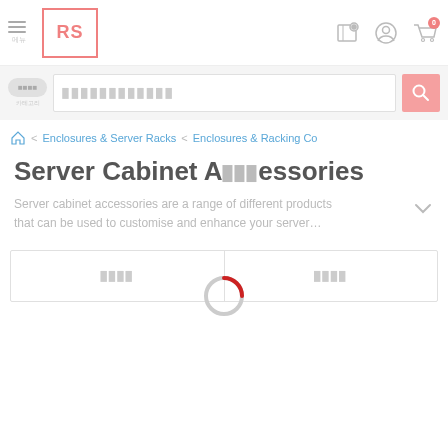RS Components website header with hamburger menu, RS logo, location pin, account, and cart icons
Search bar with All Categories button and search input
Enclosures & Server Racks > Enclosures & Racking Co
Server Cabinet Accessories
Server cabinet accessories are a range of different products that can be used to customise and enhance your server...
Filter / Sort buttons
[Figure (other): Loading spinner (circular spinner with red arc on grey circle)]